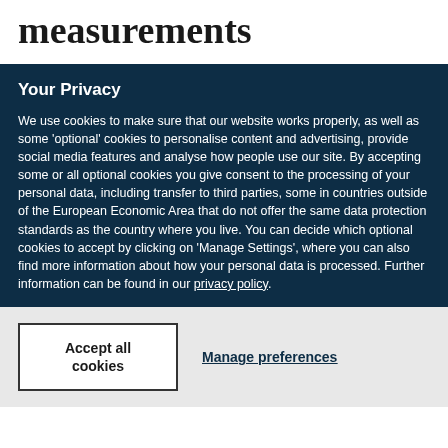measurements
Your Privacy
We use cookies to make sure that our website works properly, as well as some 'optional' cookies to personalise content and advertising, provide social media features and analyse how people use our site. By accepting some or all optional cookies you give consent to the processing of your personal data, including transfer to third parties, some in countries outside of the European Economic Area that do not offer the same data protection standards as the country where you live. You can decide which optional cookies to accept by clicking on 'Manage Settings', where you can also find more information about how your personal data is processed. Further information can be found in our privacy policy.
Accept all cookies
Manage preferences